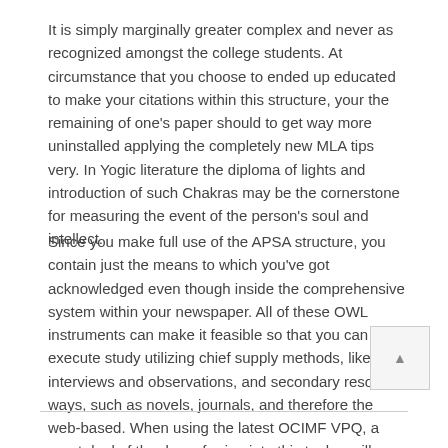It is simply marginally greater complex and never as recognized amongst the college students. At circumstance that you choose to ended up educated to make your citations within this structure, your the remaining of one's paper should to get way more uninstalled applying the completely new MLA tips very. In Yogic literature the diploma of lights and introduction of such Chakras may be the cornerstone for measuring the event of the person's soul and intellect.
Since you make full use of the APSA structure, you contain just the means to which you've got acknowledged even though inside the comprehensive system within your newspaper. All of these OWL instruments can make it feasible so that you can execute study utilizing chief supply methods, like interviews and observations, and secondary resource ways, such as novels, journals, and therefore the web-based. When using the latest OCIMF VPQ, a great deal of the day referring into this tanker will possess presently been accomplished forward of your time.